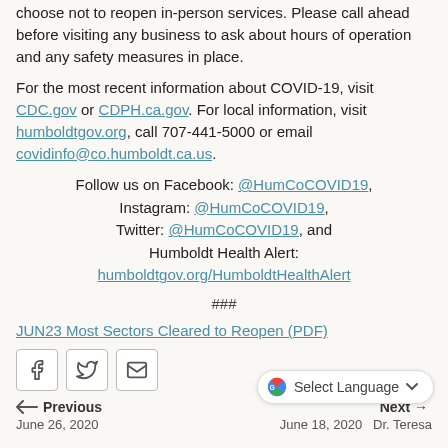choose not to reopen in-person services. Please call ahead before visiting any business to ask about hours of operation and any safety measures in place.
For the most recent information about COVID-19, visit CDC.gov or CDPH.ca.gov. For local information, visit humboldtgov.org, call 707-441-5000 or email covidinfo@co.humboldt.ca.us.
Follow us on Facebook: @HumCoCOVID19, Instagram: @HumCoCOVID19, Twitter: @HumCoCOVID19, and Humboldt Health Alert: humboldtgov.org/HumboldtHealthAlert
###
JUN23 Most Sectors Cleared to Reopen (PDF)
[Figure (other): Social share icons: Facebook, Twitter, Email]
Previous
Next
June 26, 2020
June 18, 2020  Dr. Teresa